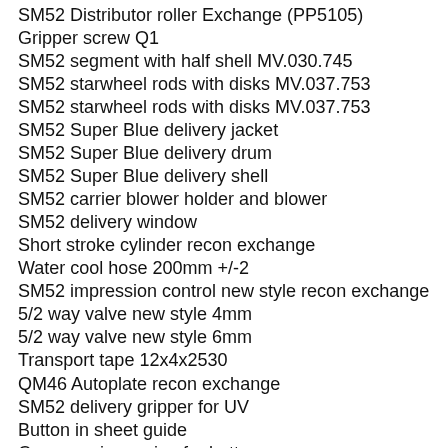SM52 Distributor roller Exchange (PP5105)
Gripper screw Q1
SM52 segment with half shell MV.030.745
SM52 starwheel rods with disks MV.037.753
SM52 starwheel rods with disks MV.037.753
SM52 Super Blue delivery jacket
SM52 Super Blue delivery drum
SM52 Super Blue delivery shell
SM52 carrier blower holder and blower
SM52 delivery window
Short stroke cylinder recon exchange
Water cool hose 200mm +/-2
SM52 impression control new style recon exchange
5/2 way valve new style 4mm
5/2 way valve new style 6mm
Transport tape 12x4x2530
QM46 Autoplate recon exchange
SM52 delivery gripper for UV
Button in sheet guide
Compression spring for button
Air Cylinder 20 x 50 stroke 4mm fittings recon exchange
QM46 cylinder switching exchange